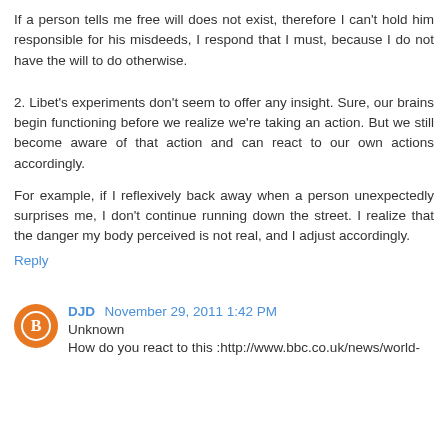If a person tells me free will does not exist, therefore I can't hold him responsible for his misdeeds, I respond that I must, because I do not have the will to do otherwise.
2. Libet's experiments don't seem to offer any insight. Sure, our brains begin functioning before we realize we're taking an action. But we still become aware of that action and can react to our own actions accordingly.
For example, if I reflexively back away when a person unexpectedly surprises me, I don't continue running down the street. I realize that the danger my body perceived is not real, and I adjust accordingly.
Reply
DJD November 29, 2011 1:42 PM
Unknown
How do you react to this :http://www.bbc.co.uk/news/world-